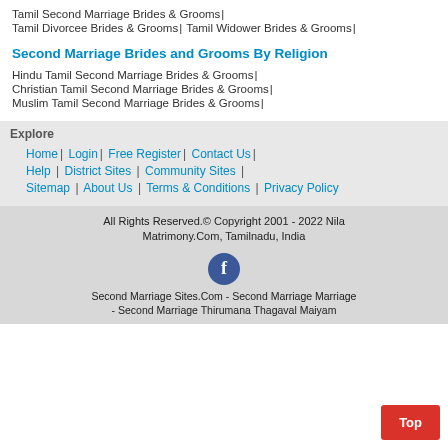Tamil Second Marriage Brides & Grooms |
Tamil Divorcee Brides & Grooms | Tamil Widower Brides & Grooms |
Second Marriage Brides and Grooms By Religion
Hindu Tamil Second Marriage Brides & Grooms |
Christian Tamil Second Marriage Brides & Grooms |
Muslim Tamil Second Marriage Brides & Grooms |
Explore
Home | Login | Free Register | Contact Us |
Help | District Sites | Community Sites |
Sitemap | About Us | Terms & Conditions | Privacy Policy
All Rights Reserved.© Copyright 2001 - 2022 Nila Matrimony.Com, Tamilnadu, India
Second Marriage Sites.Com - Second Marriage Marriage - Second Marriage Thirumana Thagaval Maiyam